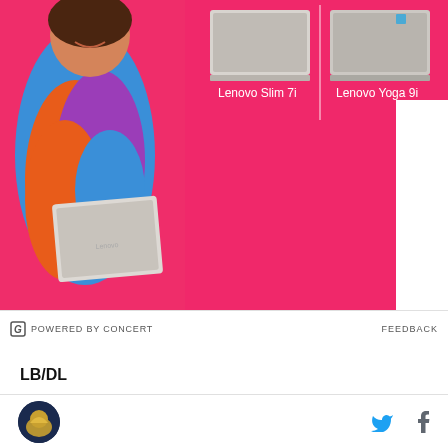[Figure (photo): Lenovo advertisement on pink background showing a woman in colorful outfit holding a laptop, with Lenovo Slim 7i and Lenovo Yoga 9i laptops displayed, and 'Smarter technology for all' tagline with Lenovo branding]
POWERED BY CONCERT   FEEDBACK
LB/DL
DeVante Wilson
They brought in DeVante specifically to improve Cal's